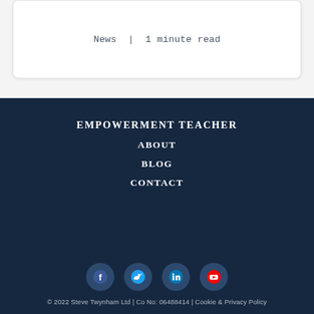News | 1 minute read
EMPOWERMENT TEACHER
ABOUT
BLOG
CONTACT
[Figure (other): Social media icons: Facebook, Twitter, LinkedIn, YouTube]
© 2022 Steve Twynham Ltd | Co No: 06488414 | Cookie & Privacy Policy